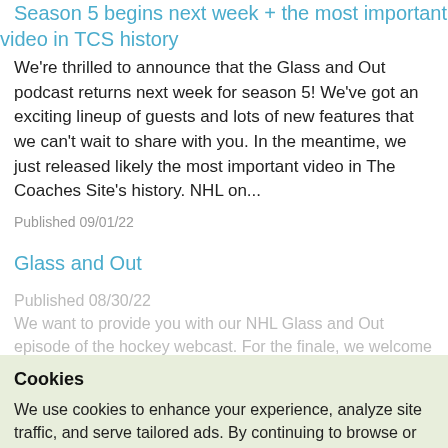Season 5 begins next week + the most important video in TCS history
We're thrilled to announce that the Glass and Out podcast returns next week for season 5! We've got an exciting lineup of guests and lots of new features that we can't wait to share with you. In the meantime, we just released likely the most important video in The Coaches Site's history. NHL on...
Published 09/01/22
Glass and Out
Cookies
We use cookies to enhance your experience, analyze site traffic, and serve tailored ads. By continuing to browse or closing this banner, you consent to our terms of service and privacy policy.
Accept Cookies